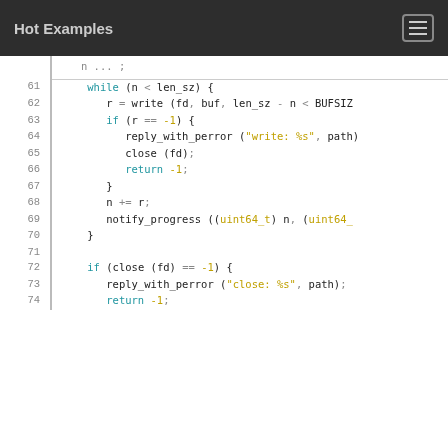Hot Examples
[Figure (screenshot): Code screenshot showing C code lines 61-74 with syntax highlighting. Lines include a while loop, write call, if conditions, reply_with_perror, close, return, n+=r, notify_progress, and a second if block with close and reply_with_perror.]